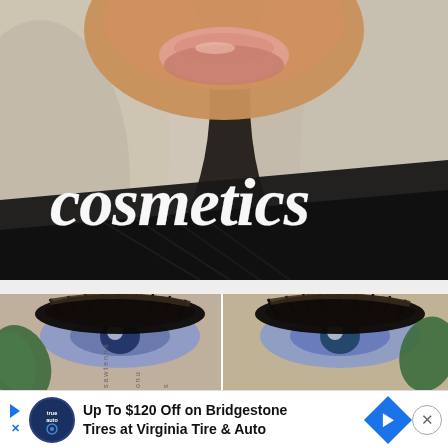[Figure (photo): Close-up selfie of a woman with platinum blonde hair, glossy lips, wearing a dark top. White cursive text 'cosmetics' overlaid on the lower right portion of the image.]
[Figure (photo): Side-by-side close-up photos of a woman's eyes with dramatic false eyelashes and blue/grey eyes. A green plant leaf is visible in the background. Rotated small text visible on the left side.]
Up To $120 Off on Bridgestone Tires at Virginia Tire & Auto